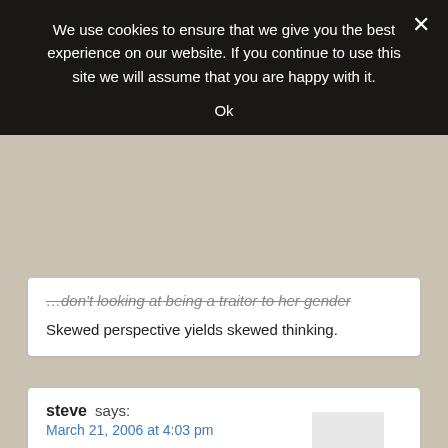We use cookies to ensure that we give you the best experience on our website. If you continue to use this site we will assume that you are happy with it.
Ok
[strikethrough text: ...don't looking at being a traitor to her gender]
Skewed perspective yields skewed thinking.
steve says:
March 21, 2006 at 4:03 pm
Speaking of manliness bush said today,“I’m confident, I believe, I’m optimistic, we’ll succeed…”, in Iraq. His manliness reassured me about how sure he was??? And later bush said that Iran could not have the “capacity or